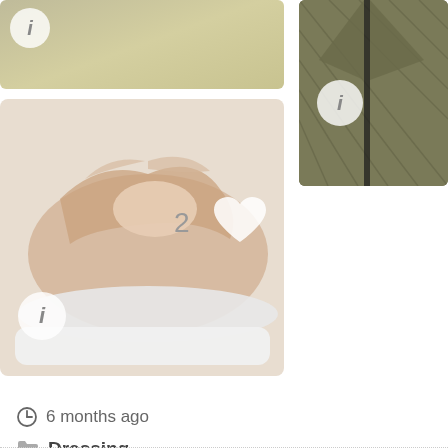[Figure (photo): Top-left: partial photo of a door/cabinet in beige/olive tones with an info 'i' button overlay]
[Figure (photo): Left main: beige/nude slip-on shoe on white sole, with info 'i' button, number '2' badge, and heart icon overlay]
[Figure (photo): Right: olive/khaki quilted jacket or vest laid flat, with info 'i' button overlay]
6 months ago
Dressing
16 replies
Latest reply was from Chris987